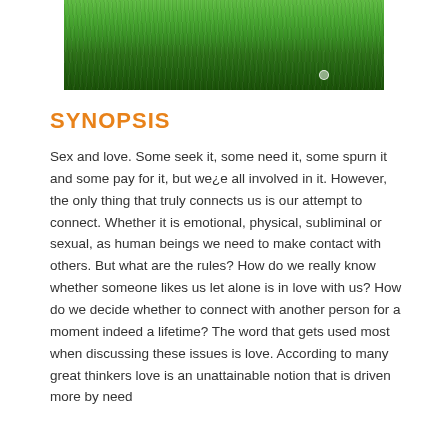[Figure (photo): Photograph of green grass viewed from close up, with grass blades filling the frame]
SYNOPSIS
Sex and love. Some seek it, some need it, some spurn it and some pay for it, but we¿e all involved in it. However, the only thing that truly connects us is our attempt to connect. Whether it is emotional, physical, subliminal or sexual, as human beings we need to make contact with others. But what are the rules? How do we really know whether someone likes us let alone is in love with us? How do we decide whether to connect with another person for a moment indeed a lifetime? The word that gets used most when discussing these issues is love. According to many great thinkers love is an unattainable notion that is driven more by need